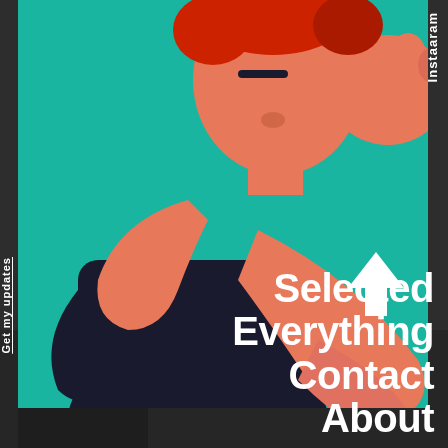[Figure (illustration): Flat vector illustration of a person with red hair wearing a black shirt, hand raised to chin in a thinking or phone-holding pose, on a teal/green background.]
Instaaram
[Figure (illustration): White upward-pointing arrow icon]
Selected
Everything
Contact
About
Get my updates